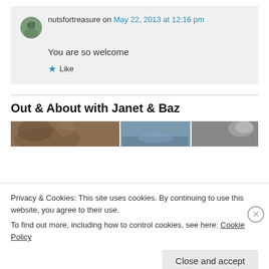nutsfortreasure on May 22, 2013 at 12:16 pm
You are so welcome
★ Like
Out & About with Janet & Baz
Privacy & Cookies: This site uses cookies. By continuing to use this website, you agree to their use.
To find out more, including how to control cookies, see here: Cookie Policy
Close and accept